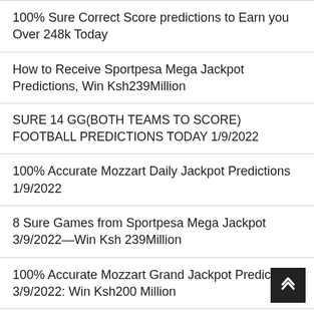100% Sure Correct Score predictions to Earn you Over 248k Today
How to Receive Sportpesa Mega Jackpot Predictions, Win Ksh239Million
SURE 14 GG(BOTH TEAMS TO SCORE) FOOTBALL PREDICTIONS TODAY 1/9/2022
100% Accurate Mozzart Daily Jackpot Predictions 1/9/2022
8 Sure Games from Sportpesa Mega Jackpot 3/9/2022—Win Ksh 239Million
100% Accurate Mozzart Grand Jackpot Predictions, 3/9/2022: Win Ksh200 Million
100% Accurate Betika Grand Jackpot Predictions, 4/9/2022:Win Ksh200 Million